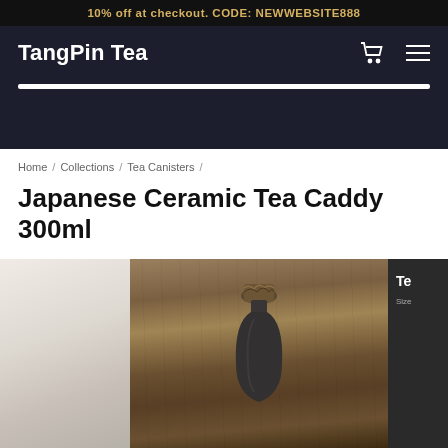10% off at checkout. CODE: NEWWEBSITE888
TangPin Tea
Home / Collections / Tea Canisters /
Japanese Ceramic Tea Caddy 300ml
[Figure (photo): Japanese ceramic tea caddy with a rough cork/ceramic stopper on top, matte dark gray/black finish, photographed on a wooden surface with warm brown tones. Partial images visible on left (light blurred background) and right (dark panel with text 'Te...' and 'Size...')]